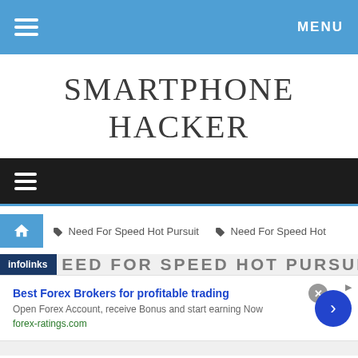MENU
SMARTPHONE HACKER
☰ (secondary navigation bar)
🏠  Need For Speed Hot Pursuit   Need For Speed Hot
[Figure (screenshot): infolinks advertisement bar with 'NEED FOR SPEED HOT PURSUIT' headline partially visible]
Best Forex Brokers for profitable trading
Open Forex Account, receive Bonus and start earning Now
forex-ratings.com